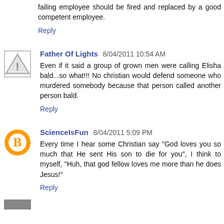failing employee should be fired and replaced by a good competent employee.
Reply
Father Of Lights  8/04/2011 10:54 AM
Even if it said a group of grown men were calling Elisha bald...so what!!! No christian would defend someone who murdered somebody because that person called another person bald.
Reply
ScienceIsFun  8/04/2011 5:09 PM
Every time I hear some Christian say "God loves you so much that He sent His son to die for you", I think to myself, "Huh, that god fellow loves me more than he does Jesus!"
Reply